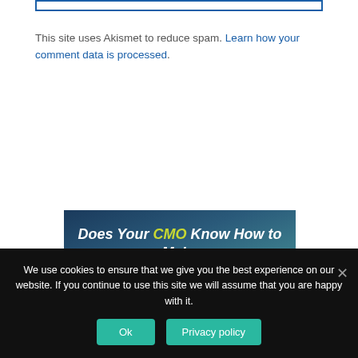[Figure (other): Blue bordered input box partial, top of page]
This site uses Akismet to reduce spam. Learn how your comment data is processed.
[Figure (illustration): Advertisement banner with dark blue textured background. Text reads: Does Your CMO Know How to Make Your Brand Dance? CMO in yellow-green, Dance in golden-yellow, rest in white italic bold.]
We use cookies to ensure that we give you the best experience on our website. If you continue to use this site we will assume that you are happy with it.